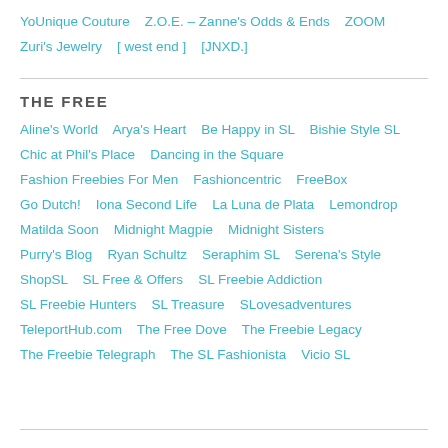YoUnique Couture   Z.O.E. – Zanne's Odds & Ends   ZOOM   Zuri's Jewelry   [ west end ]   [JNXD.]
THE FREE
Aline's World   Arya's Heart   Be Happy in SL   Bishie Style SL   Chic at Phil's Place   Dancing in the Square   Fashion Freebies For Men   Fashioncentric   FreeBox   Go Dutch!   Iona Second Life   La Luna de Plata   Lemondrop   Matilda Soon   Midnight Magpie   Midnight Sisters   Purry's Blog   Ryan Schultz   Seraphim SL   Serena's Style   ShopSL   SL Free & Offers   SL Freebie Addiction   SL Freebie Hunters   SL Treasure   SLovesadventures   TeleportHub.com   The Free Dove   The Freebie Legacy   The Freebie Telegraph   The SL Fashionista   Vicio SL